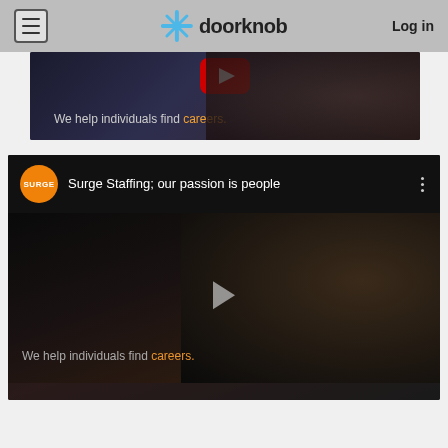doorknob | Log in
[Figure (screenshot): Partial YouTube video thumbnail showing dark background with text 'We help individuals find careers.' and a red play button at top]
[Figure (screenshot): YouTube video embed for 'Surge Staffing; our passion is people' with orange Surge logo circle, video title, three-dot menu, dark video content area with play button, and text 'We help individuals find careers.' overlaid on dark background]